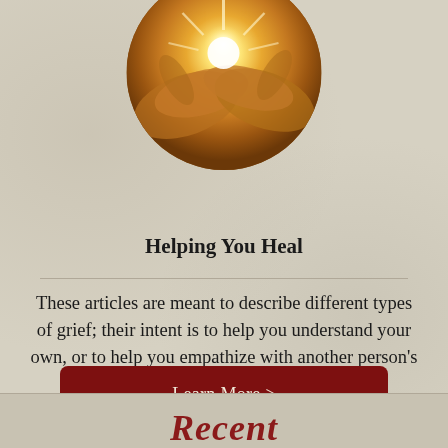[Figure (photo): Circular cropped photo of two hands cupped together holding a bright glowing light, warm golden tones, spiritual/healing imagery]
Helping You Heal
These articles are meant to describe different types of grief; their intent is to help you understand your own, or to help you empathize with another person's grief.
Learn More >
Recent